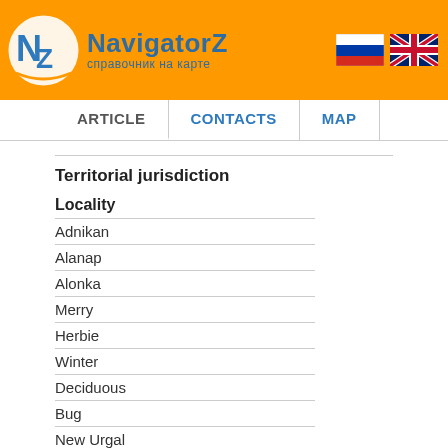[Figure (logo): NavigatorZ logo with orange circle background, NZ initials, text 'NavigatorZ' and subtitle 'справочник на карте', with Russian and UK flags]
ARTICLE | CONTACTS | MAP
Territorial jurisdiction
| Locality |
| --- |
| Adnikan |
| Alanap |
| Alonka |
| Merry |
| Herbie |
| Winter |
| Deciduous |
| Bug |
| New Urgal |
| When |
| Saloni |
| Sofiysk |